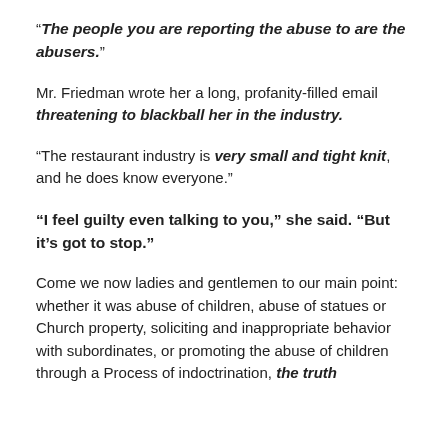“The people you are reporting the abuse to are the abusers.”
Mr. Friedman wrote her a long, profanity-filled email threatening to blackball her in the industry.
“The restaurant industry is very small and tight knit, and he does know everyone.”
“I feel guilty even talking to you,” she said. “But it’s got to stop.”
Come we now ladies and gentlemen to our main point: whether it was abuse of children, abuse of statues or Church property, soliciting and inappropriate behavior with subordinates, or promoting the abuse of children through a Process of indoctrination, the truth